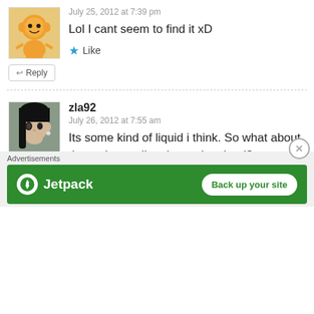[Figure (illustration): Avatar of first commenter - cartoon character illustration]
July 25, 2012 at 7:39 pm
Lol I cant seem to find it xD
↩ Reply
★ Like
[Figure (photo): Avatar of zla92 - anime character photo]
zla92
July 26, 2012 at 7:55 am
Its some kind of liquid i think. So what about the option to directly use it to heal?
http://bit.ly/MKFZWM
↩ Reply
★ Like
Advertisements
[Figure (screenshot): Jetpack advertisement banner with Back up your site button]